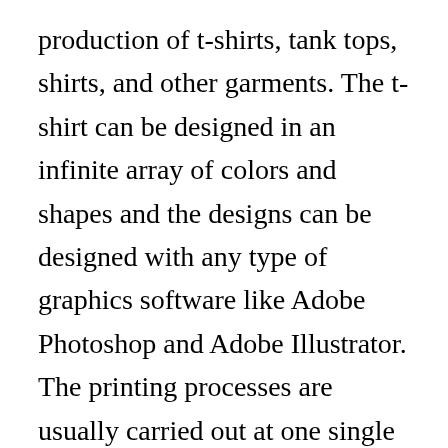production of t-shirts, tank tops, shirts, and other garments. The t-shirt can be designed in an infinite array of colors and shapes and the designs can be designed with any type of graphics software like Adobe Photoshop and Adobe Illustrator. The printing processes are usually carried out at one single place or are done on different garment materials at different locations. This allows the company to have numerous designs ready to go at any given time. This also means that the process can be done in a timely fashion without the